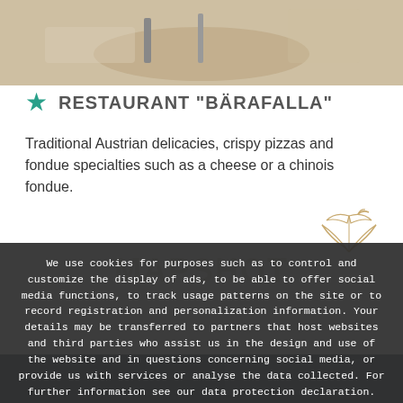[Figure (photo): Top portion of a restaurant photo showing a table setting with plates and cutlery]
RESTAURANT "BÄRAFALLA"
Traditional Austrian delicacies, crispy pizzas and fondue specialties such as a cheese or a chinois fondue.
[Figure (illustration): Decorative leaf/bird illustration in gold/tan color in upper right of cookie banner area]
We use cookies for purposes such as to control and customize the display of ads, to be able to offer social media functions, to track usage patterns on the site or to record registration and personalization information. Your details may be transferred to partners that host websites and third parties who assist us in the design and use of the website and in questions concerning social media, or provide us with services or analyse the data collected. For further information see our data protection declaration.
OK
privacy policy
[Figure (photo): Bottom portion of a photo visible beneath the cookie banner]